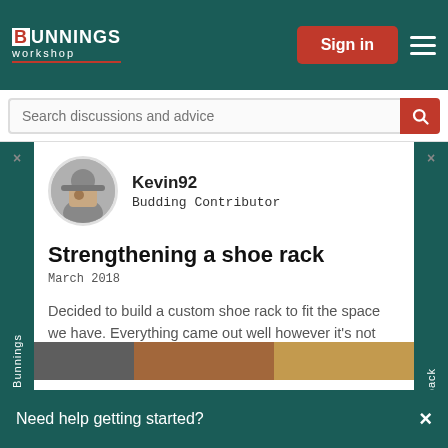BUNNINGS workshop — Sign in
Search discussions and advice
Kevin92
Budding Contributor
Strengthening a shoe rack
March 2018
Decided to build a custom shoe rack to fit the space we have. Everything came out well however it's not very firm as it sway left to right easily when it's touched. Do you think I should add more firm shelves or fix a sheet to the back? Or is there anything else I can do to make it firm
Need help getting started?